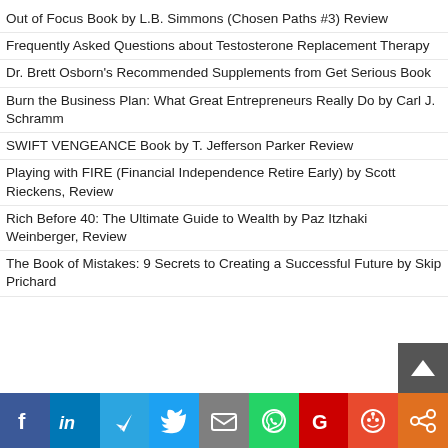Out of Focus Book by L.B. Simmons (Chosen Paths #3) Review
Frequently Asked Questions about Testosterone Replacement Therapy
Dr. Brett Osborn's Recommended Supplements from Get Serious Book
Burn the Business Plan: What Great Entrepreneurs Really Do by Carl J. Schramm
SWIFT VENGEANCE Book by T. Jefferson Parker Review
Playing with FIRE (Financial Independence Retire Early) by Scott Rieckens, Review
Rich Before 40: The Ultimate Guide to Wealth by Paz Itzhaki Weinberger, Review
The Book of Mistakes: 9 Secrets to Creating a Successful Future by Skip Prichard